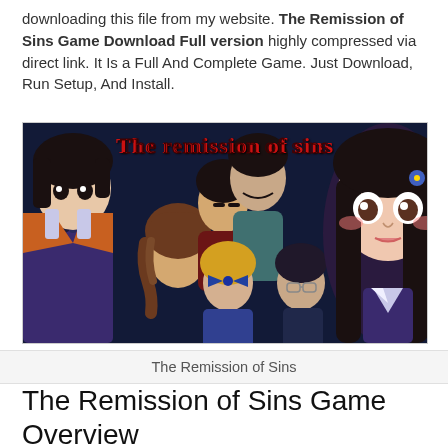downloading this file from my website. The Remission of Sins Game Download Full version highly compressed via direct link. It Is a Full And Complete Game. Just Download, Run Setup, And Install.
[Figure (illustration): Promotional artwork for 'The Remission of Sins' visual novel game, showing several anime-style characters against a dark blue background. The title 'The remission of sins' appears in red decorative text at the top of the image.]
The Remission of Sins
The Remission of Sins Game Overview